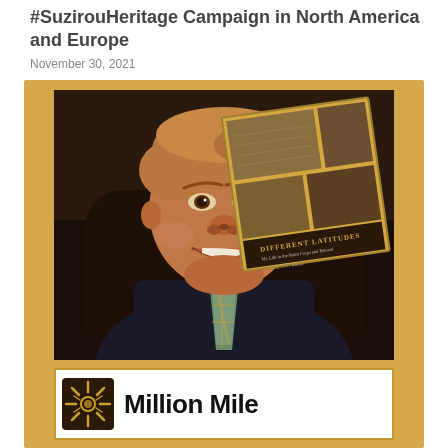#SuzirouHeritage Campaign in North America and Europe
November 30, 2021
[Figure (photo): Author photo of a heavyset man in a dark suit and plaid tie smiling, with a book cover overlay for 'Different Latitudes: My Life in the Peace Corps and Beyond' by Mark D. Walker, set against a warm golden/amber background. Below is a white banner with a Million Mile logo.]
Million Mile